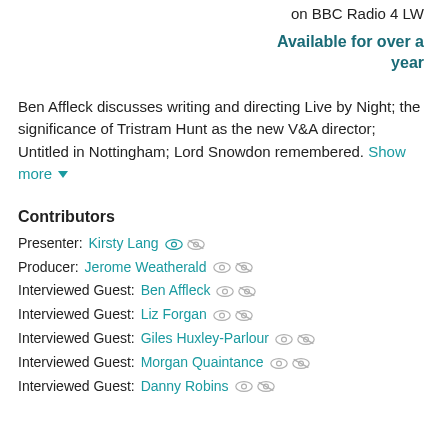on BBC Radio 4 LW
Available for over a year
Ben Affleck discusses writing and directing Live by Night; the significance of Tristram Hunt as the new V&A director; Untitled in Nottingham; Lord Snowdon remembered. Show more
Contributors
Presenter: Kirsty Lang
Producer: Jerome Weatherald
Interviewed Guest: Ben Affleck
Interviewed Guest: Liz Forgan
Interviewed Guest: Giles Huxley-Parlour
Interviewed Guest: Morgan Quaintance
Interviewed Guest: Danny Robins